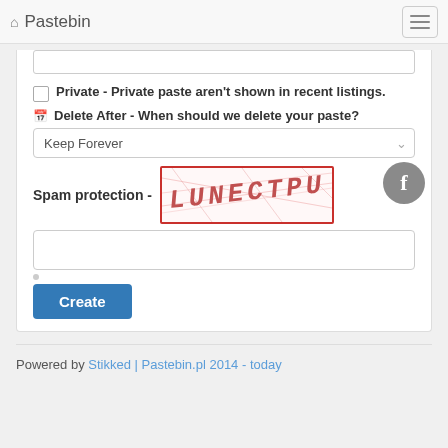Pastebin
Private - Private paste aren't shown in recent listings.
Delete After - When should we delete your paste?
Keep Forever
Spam protection - [CAPTCHA image: LUNECTPU]
[Figure (other): CAPTCHA image showing distorted red text 'LUNECTPU' on white background with red scribble lines]
Create
Powered by Stikked | Pastebin.pl 2014 - today